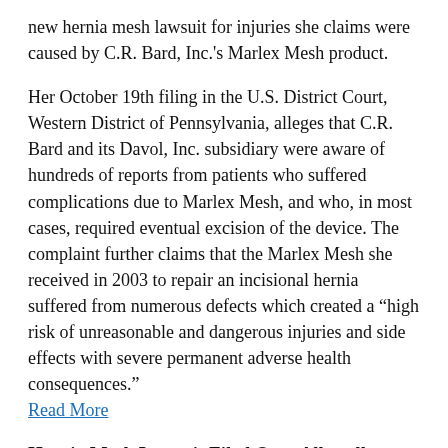new hernia mesh lawsuit for injuries she claims were caused by C.R. Bard, Inc.'s Marlex Mesh product.
Her October 19th filing in the U.S. District Court, Western District of Pennsylvania, alleges that C.R. Bard and its Davol, Inc. subsidiary were aware of hundreds of reports from patients who suffered complications due to Marlex Mesh, and who, in most cases, required eventual excision of the device. The complaint further claims that the Marlex Mesh she received in 2003 to repair an incisional hernia suffered from numerous defects which created a “high risk of unreasonable and dangerous injuries and side effects with severe permanent adverse health consequences.” Read More
Hernia Mesh Lawsuit Filed Over Allegedly Toxic